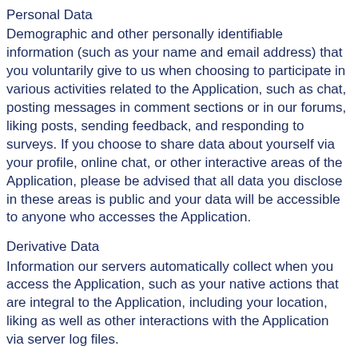Personal Data
Demographic and other personally identifiable information (such as your name and email address) that you voluntarily give to us when choosing to participate in various activities related to the Application, such as chat, posting messages in comment sections or in our forums, liking posts, sending feedback, and responding to surveys. If you choose to share data about yourself via your profile, online chat, or other interactive areas of the Application, please be advised that all data you disclose in these areas is public and your data will be accessible to anyone who accesses the Application.
Derivative Data
Information our servers automatically collect when you access the Application, such as your native actions that are integral to the Application, including your location, liking as well as other interactions with the Application via server log files.
Geo-Location Information